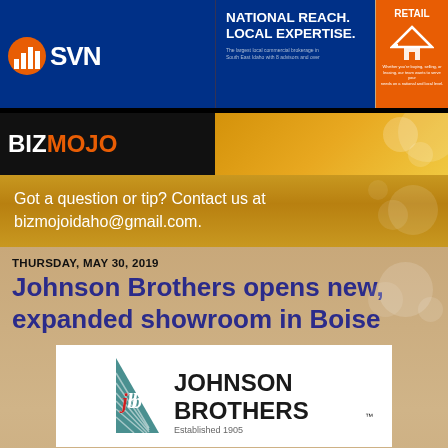[Figure (logo): SVN BizMojo logo banner with National Reach Local Expertise tagline and Retail panel]
Got a question or tip? Contact us at bizmojoidaho@gmail.com.
THURSDAY, MAY 30, 2019
Johnson Brothers opens new, expanded showroom in Boise
[Figure (logo): Johnson Brothers company logo - teal triangle with JB monogram and company name text, Established 1905]
Johnson Brothers, a mainstay of Idaho Falls since 1905, has expanded in the Treasure Valley, relocating their design center and showroom to a facility with nearly three times the retail space of their old one. They will be hosting an open house June 20 at the new location, 2230 Cole Road, Suite